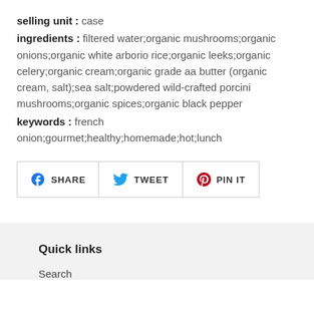selling unit : case
ingredients : filtered water;organic mushrooms;organic onions;organic white arborio rice;organic leeks;organic celery;organic cream;organic grade aa butter (organic cream, salt);sea salt;powdered wild-crafted porcini mushrooms;organic spices;organic black pepper
keywords : french onion;gourmet;healthy;homemade;hot;lunch
[Figure (other): Social media sharing buttons: SHARE (Facebook), TWEET (Twitter), PIN IT (Pinterest)]
Quick links
Search